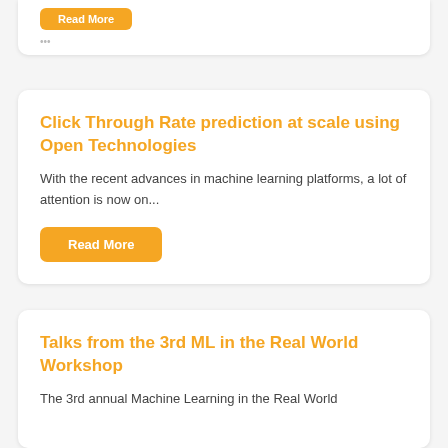[Figure (other): Top card partial view with orange button and small text]
Click Through Rate prediction at scale using Open Technologies
With the recent advances in machine learning platforms, a lot of attention is now on...
Read More
Talks from the 3rd ML in the Real World Workshop
The 3rd annual Machine Learning in the Real World